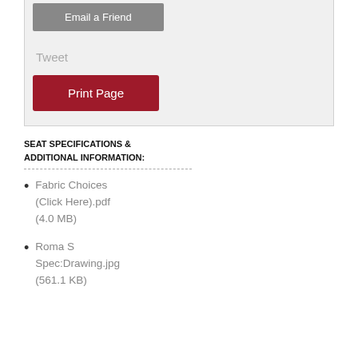[Figure (screenshot): UI panel with Email a Friend button (gray), Tweet text, and Print Page button (dark red)]
SEAT SPECIFICATIONS & ADDITIONAL INFORMATION:
Fabric Choices (Click Here).pdf (4.0 MB)
Roma S Spec:Drawing.jpg (561.1 KB)